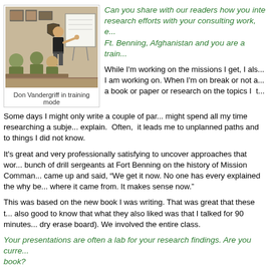[Figure (photo): Don Vandergriff standing at a whiteboard pointing, with military personnel seated around a table in camouflage uniforms, framed pictures on the wall behind him.]
Don Vandergriff in training mode
Can you share with our readers how you integrate your research efforts with your consulting work, e... Ft. Benning, Afghanistan and you are a train...
While I'm working on the missions I get, I als... I am working on. When I'm on break or not a... a book or paper or research on the topics I t...
Some days I might only write a couple of par... might spend all my time researching a subje... explain. Often, it leads me to unplanned paths and to things I did not know.
It's great and very professionally satisfying to uncover approaches that wor... bunch of drill sergeants at Fort Benning on the history of Mission Comman... came up and said, “We get it now. No one has every explained the why be... where it came from. It makes sense now.”
This was based on the new book I was writing. That was great that these t... also good to know that what they also liked was that I talked for 90 minutes... dry erase board). We involved the entire class.
Your presentations are often a lab for your research findings. Are you curre... book?